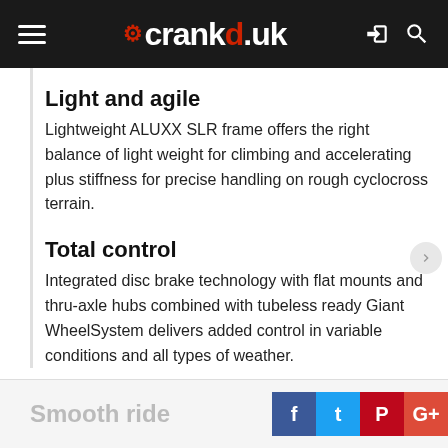crankd.uk
Light and agile
Lightweight ALUXX SLR frame offers the right balance of light weight for climbing and accelerating plus stiffness for precise handling on rough cyclocross terrain.
Total control
Integrated disc brake technology with flat mounts and thru-axle hubs combined with tubeless ready Giant WheelSystem delivers added control in variable conditions and all types of weather.
Smooth ride...